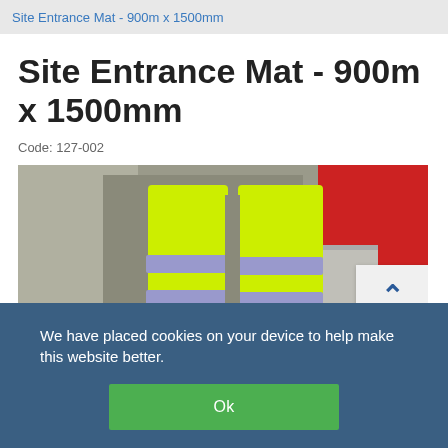Site Entrance Mat - 900m x 1500mm
Site Entrance Mat - 900m x 1500mm
Code: 127-002
[Figure (photo): Person wearing high-visibility yellow trousers with reflective bands standing on a site entrance mat. Background shows a red barrier and concrete structures.]
We have placed cookies on your device to help make this website better.
Ok